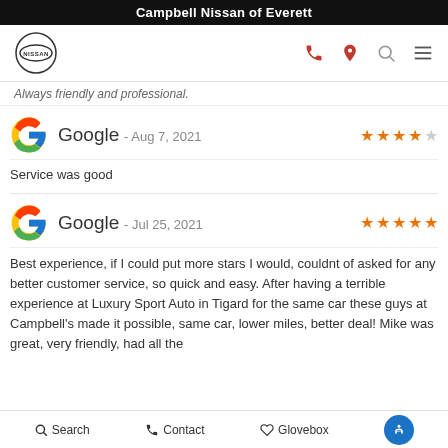Campbell Nissan of Everett
Always friendly and professional.
Google - Aug 7, 2021 ★★★★☆
Service was good
Google - Jul 25, 2021 ★★★★★
Best experience, if I could put more stars I would, couldnt of asked for any better customer service, so quick and easy. After having a terrible experience at Luxury Sport Auto in Tigard for the same car these guys at Campbell's made it possible, same car, lower miles, better deal! Mike was great, very friendly, had all the
Search  Contact  Glovebox